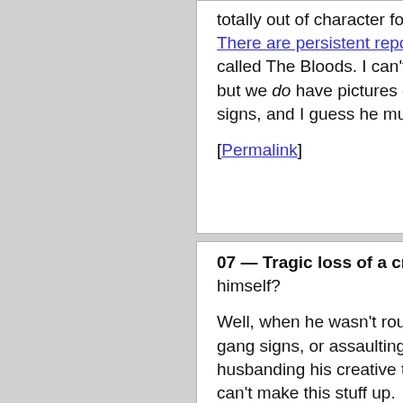totally out of character for Mr. Head. There are persistent reports that he is a member of the street gang called The Bloods. I can't nail down an authoritative confirmation of this, but we do have pictures of Michael Brown himself flashing Bloods signs, and I guess he must have learned it from somewhere.
[Permalink]
07 — Tragic loss of a creative talent.    What about the deceased himself?
Well, when he wasn't roughing up convenience store clerks, flashing gang signs, or assaulting police officers, Michael Brown was husbanding his creative talent. He was, yes, an aspiring rap singer. You can't make this stuff up.